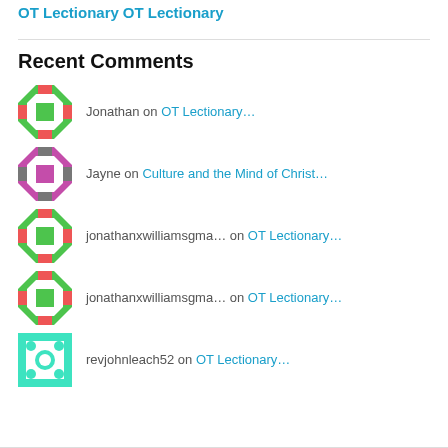OT Lectionary
OT Lectionary
Recent Comments
Jonathan on OT Lectionary…
Jayne on Culture and the Mind of Christ…
jonathanxwilliamsgma… on OT Lectionary…
jonathanxwilliamsgma… on OT Lectionary…
revjohnleach52 on OT Lectionary…